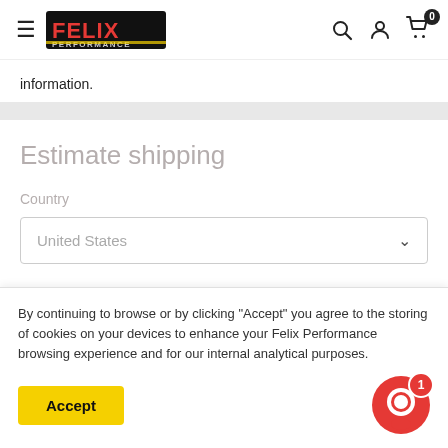Felix Performance — navigation header with logo, search, account, and cart icons
information.
Estimate shipping
Country
United States
By continuing to browse or by clicking "Accept" you agree to the storing of cookies on your devices to enhance your Felix Performance browsing experience and for our internal analytical purposes.